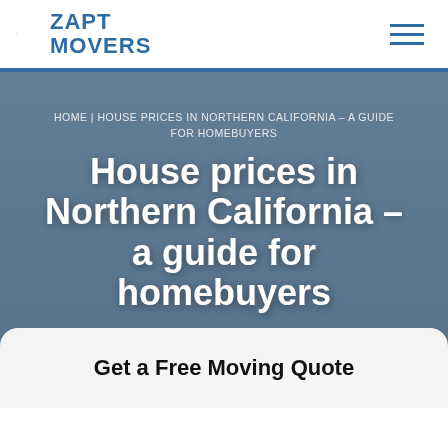[Figure (logo): Zapt Movers logo with truck icon and blue text]
HOME | HOUSE PRICES IN NORTHERN CALIFORNIA – A GUIDE FOR HOMEBUYERS
House prices in Northern California – a guide for homebuyers
Get a Free Moving Quote